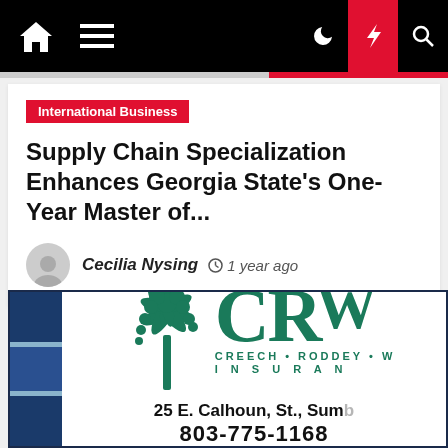Navigation bar with home, menu, dark mode, lightning, and search icons
International Business
Supply Chain Specialization Enhances Georgia State's One-Year Master of...
Cecilia Nysing  1 year ago
[Figure (logo): CRW Insurance logo with palm tree, text CREECH • RODDEY • W, INSURANCE, address 25 E. Calhoun, St., Sumb, phone 803-775-1168, website crwins.com]